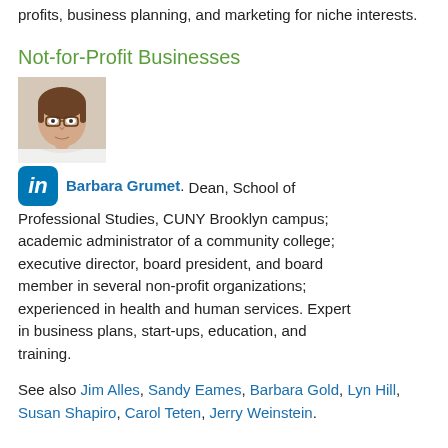profits, business planning, and marketing for niche interests.
Not-for-Profit Businesses
[Figure (photo): Headshot of Barbara Grumet, a woman with short brown hair and glasses]
Barbara Grumet. Dean, School of Professional Studies, CUNY Brooklyn campus; academic administrator of a community college; executive director, board president, and board member in several non-profit organizations; experienced in health and human services. Expert in business plans, start-ups, education, and training.
See also Jim Alles, Sandy Eames, Barbara Gold, Lyn Hill, Susan Shapiro, Carol Teten, Jerry Weinstein.